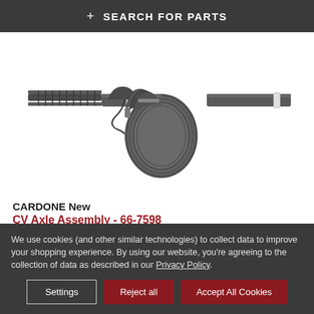+ SEARCH FOR PARTS
[Figure (photo): CV Axle Assembly part photo showing a mechanical shaft with ribbed boot and splined ends against a white background]
CARDONE New
CV Axle Assembly - 66-7598
Part Number: 66-7598
Product Condition: New
We use cookies (and other similar technologies) to collect data to improve your shopping experience. By using our website, you're agreeing to the collection of data as described in our Privacy Policy.
Settings | Reject all | Accept All Cookies